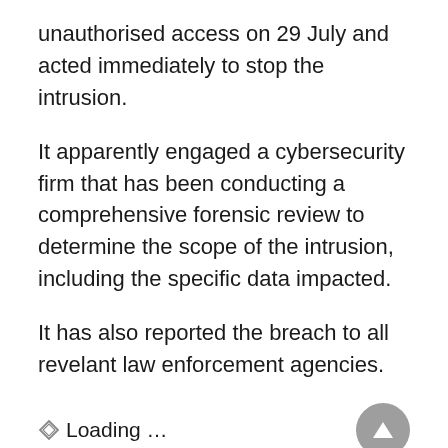unauthorised access on 29 July and acted immediately to stop the intrusion.
It apparently engaged a cybersecurity firm that has been conducting a comprehensive forensic review to determine the scope of the intrusion, including the specific data impacted.
It has also reported the breach to all revelant law enforcement agencies.
⬧ Loading …
“This is clearly a disappointing event for our company, and one that strikes at the heart of